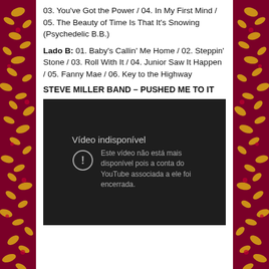03. You've Got the Power / 04. In My First Mind / 05. The Beauty of Time Is That It's Snowing (Psychedelic B.B.)
Lado B: 01. Baby's Callin' Me Home / 02. Steppin' Stone / 03. Roll With It / 04. Junior Saw It Happen / 05. Fanny Mae / 06. Key to the Highway
STEVE MILLER BAND – PUSHED ME TO IT
[Figure (screenshot): Embedded YouTube video player showing an unavailable video error message. Dark background with a circle-exclamation icon and Portuguese text: 'Vídeo indisponível' and 'Este vídeo não está mais disponível pois a conta do YouTube associada a ele foi encerrada.']